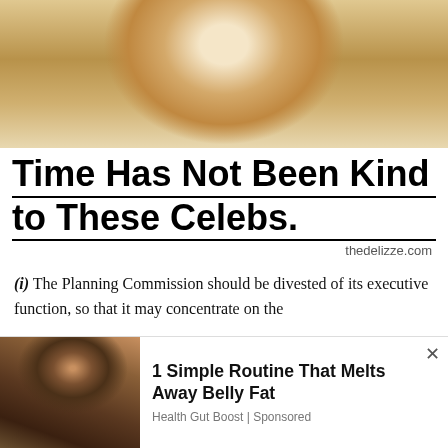[Figure (photo): Cropped photo of a blonde woman, celebrity photo, upper portion of face and hair visible]
Time Has Not Been Kind to These Celebs.
thedelizze.com
(i) The Planning Commission should be divested of its executive function, so that it may concentrate on the
We use cookies on our website to give you the most relevant experience by remembering your preferences and repeat visits. By clicking “Accept”, you consent to the use of ALL the cookies.
Do not sell my personal information.
[Figure (photo): Ad banner with photo of a man wearing glasses holding a bowl of food, advertisement for belly fat routine]
1 Simple Routine That Melts Away Belly Fat
Health Gut Boost | Sponsored